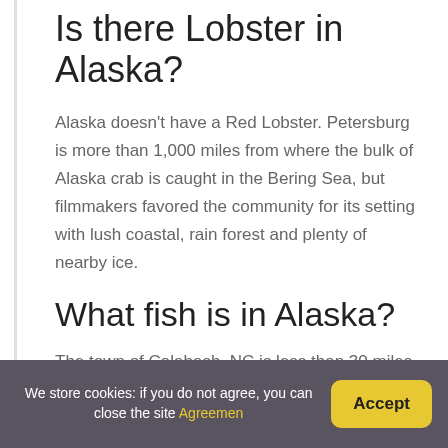Is there Lobster in Alaska?
Alaska doesn't have a Red Lobster. Petersburg is more than 1,000 miles from where the bulk of Alaska crab is caught in the Bering Sea, but filmmakers favored the community for its setting with lush coastal, rain forest and plenty of nearby ice.
What fish is in Alaska?
The town of Calabash, NC is less than 30 miles up the coast from Myrtle Beach, SC and has long been known as the Seafood Capital of the World.
We store cookies: if you do not agree, you can close the site Agreemen  Accept